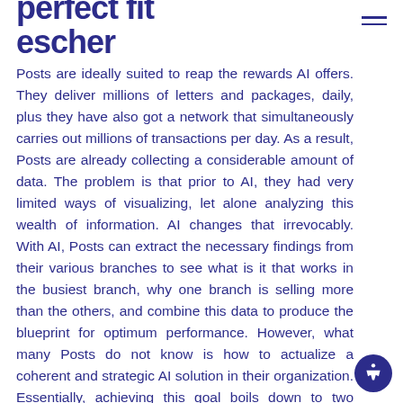perfect fit escher
Posts are ideally suited to reap the rewards AI offers. They deliver millions of letters and packages, daily, plus they have also got a network that simultaneously carries out millions of transactions per day. As a result, Posts are already collecting a considerable amount of data. The problem is that prior to AI, they had very limited ways of visualizing, let alone analyzing this wealth of information. AI changes that irrevocably. With AI, Posts can extract the necessary findings from their various branches to see what is it that works in the busiest branch, why one branch is selling more than the others, and combine this data to produce the blueprint for optimum performance. However, what many Posts do not know is how to actualize a coherent and strategic AI solution in their organization. Essentially, achieving this goal boils down to two choices: